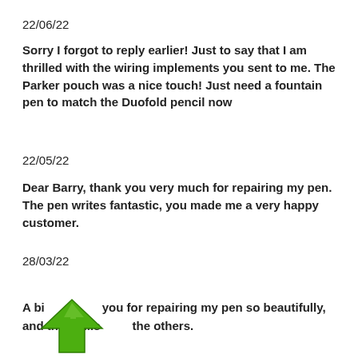22/06/22
Sorry I forgot to reply earlier! Just to say that I am thrilled with the wiring implements you sent to me. The Parker pouch was a nice touch! Just need a fountain pen to match the Duofold pencil now
22/05/22
Dear Barry, thank you very much for repairing my pen. The pen writes fantastic, you made me a very happy customer.
28/03/22
A big thank you for repairing my pen so beautifully, and the refills and the others.
[Figure (illustration): Green upward-pointing arrow icon overlapping the text]